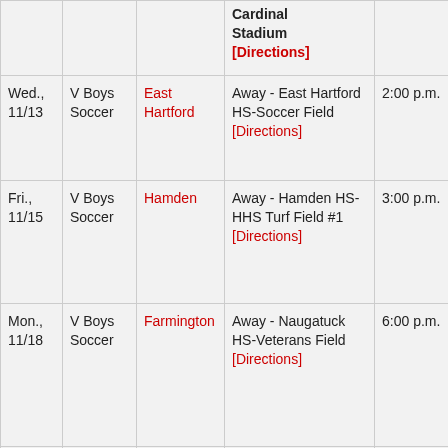| Date | Sport | Opponent | Location | Time |
| --- | --- | --- | --- | --- |
|  |  |  | Cardinal Stadium [Directions] |  |
| Wed., 11/13 | V Boys Soccer | East Hartford | Away - East Hartford HS-Soccer Field [Directions] | 2:00 p.m. |
| Fri., 11/15 | V Boys Soccer | Hamden | Away - Hamden HS-HHS Turf Field #1 [Directions] | 3:00 p.m. |
| Mon., 11/18 | V Boys Soccer | Farmington | Away - Naugatuck HS-Veterans Field [Directions] | 6:00 p.m. |
| Sat., 11/23 | V Boys Soccer | Hall | Away - Veteran's Stadium-Willow Brook Park [Directions] | 5:30 p.m. |